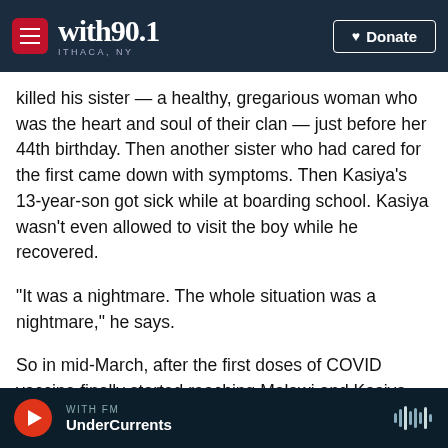with90.1 ITHACA, NY | Donate
killed his sister — a healthy, gregarious woman who was the heart and soul of their clan — just before her 44th birthday. Then another sister who had cared for the first came down with symptoms. Then Kasiya's 13-year-son got sick while at boarding school. Kasiya wasn't even allowed to visit the boy while he recovered.
"It was a nightmare. The whole situation was a nightmare," he says.
So in mid-March, after the first doses of COVID vaccine finally started reaching Malawi and Kasiya
WITH FM — UnderCurrents